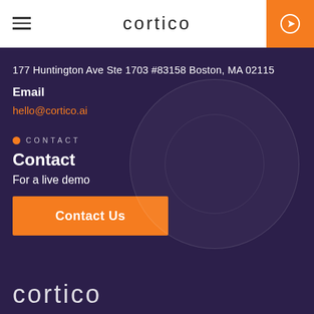cortico
177 Huntington Ave Ste 1703 #83158 Boston, MA 02115
Email
hello@cortico.ai
CONTACT
Contact
For a live demo
Contact Us
cortico